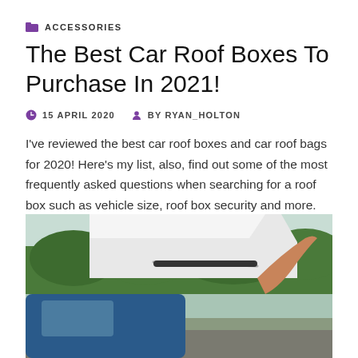ACCESSORIES
The Best Car Roof Boxes To Purchase In 2021!
15 APRIL 2020   BY RYAN_HOLTON
I've reviewed the best car roof boxes and car roof bags for 2020! Here's my list, also, find out some of the most frequently asked questions when searching for a roof box such as vehicle size, roof box security and more.
[Figure (photo): A car with a white roof box open, parked in a rural area with green trees in the background. A person's arm is visible reaching up to the roof box.]